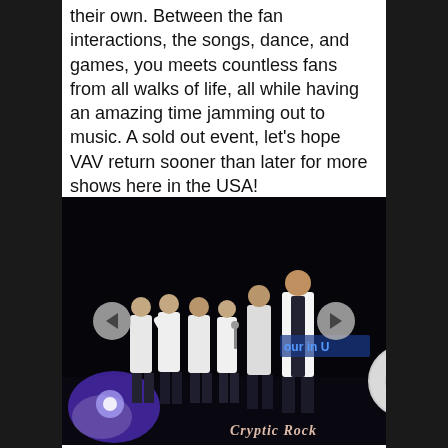their own. Between the fan interactions, the songs, dance, and games, you meets countless fans from all walks of life, all while having an amazing time jamming out to music. A sold out event, let's hope VAV return sooner than later for more shows here in the USA!
[Figure (photo): Concert photo of VAV band members on stage in white shirts performing, with purple stage lights and a 'Cryptic Rock' watermark in the bottom right. Navigation arrows on the left and right sides. A scroll-to-top circular button visible on the right edge.]